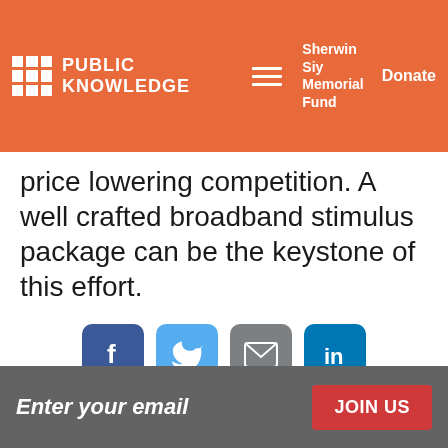PUBLIC KNOWLEDGE | Sherwin Siy Memorial Fund | Donate
price lowering competition. A well crafted broadband stimulus package can be the keystone of this effort.
[Figure (infographic): Row of four social sharing buttons: Facebook (dark blue), Twitter (light blue), Email/Mail (gray), LinkedIn (medium blue)]
Enter your email | JOIN US